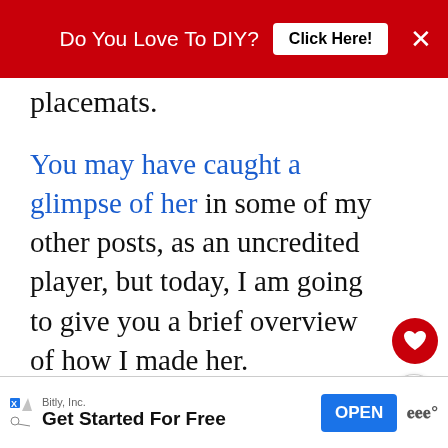[Figure (screenshot): Red top ad banner with text 'Do You Love To DIY?' and 'Click Here!' button and X close button]
placemats.
You may have caught a glimpse of her in some of my other posts, as an uncredited player, but today, I am going to give you a brief overview of how I made her.
The process, as you can imagine simple. Honestly, at this point, would you e
[Figure (screenshot): Bottom advertisement banner: Bitly, Inc. - Get Started For Free - OPEN button]
[Figure (other): WHAT'S NEXT arrow - Placemat Christmas... with circular image]
[Figure (other): Heart and share floating action buttons]